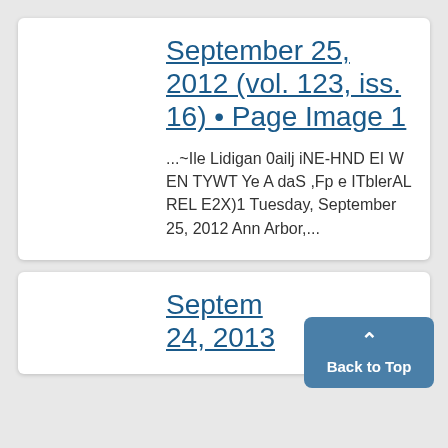September 25, 2012 (vol. 123, iss. 16) • Page Image 1
...~Ile Lidigan 0ailj iNE-HND EI W EN TYWT Ye A daS ,Fp e ITblerAL REL E2X)1 Tuesday, September 25, 2012 Ann Arbor,...
Septem 24, 2012